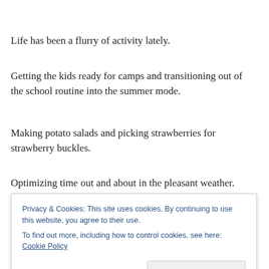Life has been a flurry of activity lately.
Getting the kids ready for camps and transitioning out of the school routine into the summer mode.
Making potato salads and picking strawberries for strawberry buckles.
Optimizing time out and about in the pleasant weather.
Celebrating my 42nd birthday.
Privacy & Cookies: This site uses cookies. By continuing to use this website, you agree to their use.
To find out more, including how to control cookies, see here: Cookie Policy
[Close and accept]